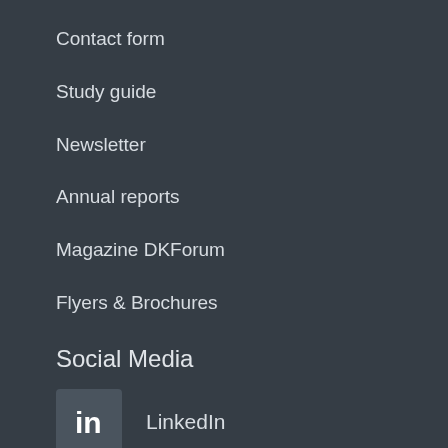Contact form
Study guide
Newsletter
Annual reports
Magazine DKForum
Flyers & Brochures
Social Media
LinkedIn
Twitter
Vimeo